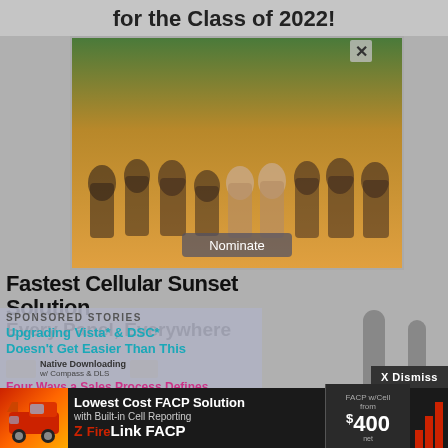for the Class of 2022!
[Figure (photo): Group photo of approximately 12 people standing outdoors with a sunset background, with a 'Nominate' button overlay at the bottom center and an X close button at the top right]
Fastest Cellular Sunset Solution Every Panel, Everywhere
[Figure (infographic): Sponsored stories overlay showing: 'SPONSORED STORIES' label, cyan text 'Upgrading Vista* & DSC* Doesn't Get Easier Than This', Native Downloading w/ Compass & DLS logos, pink text 'Four Ways a Sales Process Defines Company Growth & Profitability']
[Figure (infographic): StarLinkConnect advertisement with antenna graphics on the right, showing 'StarLinkConnect' logo with chat bubble, 'Standby' text, 'Radio $9.95*' pricing, and two gray antenna illustrations]
[Figure (infographic): Bottom banner ad: Lowest Cost FACP Solution with Built-in Cell Reporting, FireLink FACP brand, FACP w/Cell from $400, with fire truck image on left and red bar icons on right]
X Dismiss